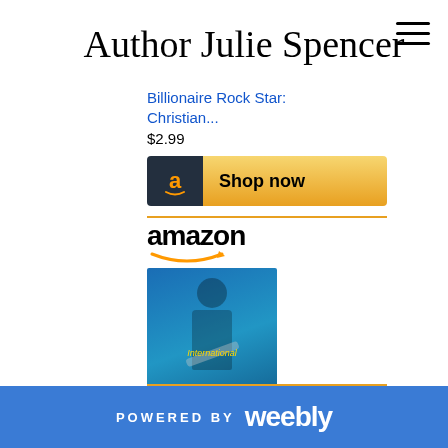Author Julie Spencer
Billionaire Rock Star: Christian...
$2.99
[Figure (screenshot): Amazon 'Shop now' button with black Amazon logo square on left and gold gradient background]
[Figure (screenshot): Amazon logo with smile arrow and book cover for International Rock Star by Julie Spencer showing a guitarist in black vest]
International Rock Star:....
$2.99
[Figure (screenshot): Amazon 'Shop now' button with black Amazon logo square on left and gold gradient background]
POWERED BY weebly